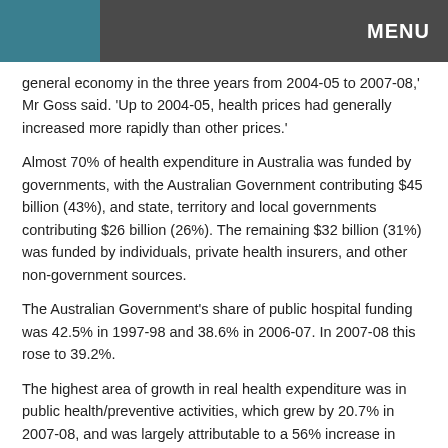MENU
general economy in the three years from 2004-05 to 2007-08,' Mr Goss said. 'Up to 2004-05, health prices had generally increased more rapidly than other prices.'
Almost 70% of health expenditure in Australia was funded by governments, with the Australian Government contributing $45 billion (43%), and state, territory and local governments contributing $26 billion (26%). The remaining $32 billion (31%) was funded by individuals, private health insurers, and other non-government sources.
The Australian Government's share of public hospital funding was 42.5% in 1997-98 and 38.6% in 2006-07. In 2007-08 this rose to 39.2%.
The highest area of growth in real health expenditure was in public health/preventive activities, which grew by 20.7% in 2007-08, and was largely attributable to a 56% increase in spending on organised immunisation programs.